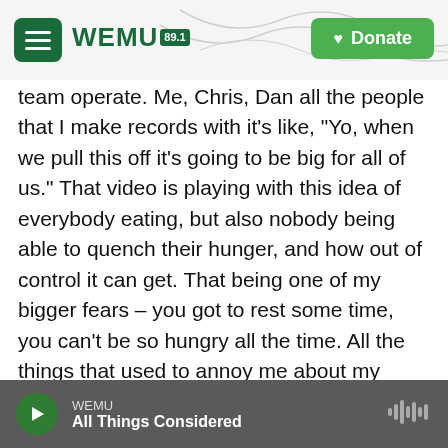WEMU 89.1 | Donate
team operate. Me, Chris, Dan all the people that I make records with it's like, "Yo, when we pull this off it's going to be big for all of us." That video is playing with this idea of everybody eating, but also nobody being able to quench their hunger, and how out of control it can get. That being one of my bigger fears – you got to rest some time, you can't be so hungry all the time. All the things that used to annoy me about my parents, I am now.
You've also talked about being really comfortable in talking about being good at what you do, being successful, but you also have some guilt about the
WEMU | All Things Considered